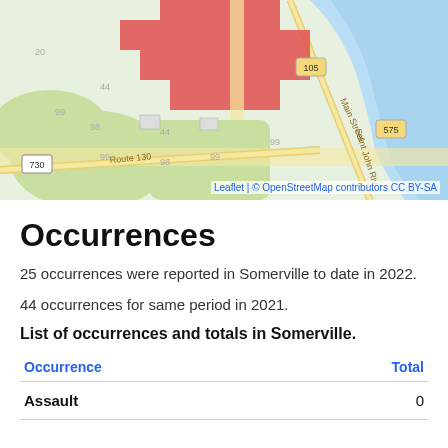[Figure (map): OpenStreetMap showing Somerville area with a red highlighted region, roads including Route 130 and Route 105, Main Street, Saint John River, and route markers 730 and 575.]
Occurrences
25 occurrences were reported in Somerville to date in 2022.
44 occurrences for same period in 2021.
List of occurrences and totals in Somerville.
| Occurrence | Total |
| --- | --- |
| Assault | 0 |